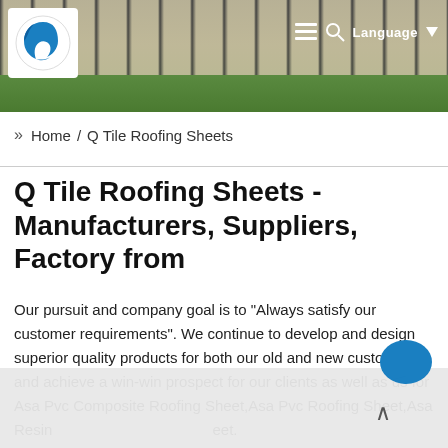[Figure (photo): Website header with solar panels on a rooftop background and green grass, company logo on left, navigation icons and Language button on right]
» Home / Q Tile Roofing Sheets
Q Tile Roofing Sheets - Manufacturers, Suppliers, Factory from
Our pursuit and company goal is to "Always satisfy our customer requirements". We continue to develop and design superior quality products for both our old and new customers and achieve a win-win prospect for our clients as well as us for Asa Pvc Composite Roofing Sheet,Asa Pvc Roofing Sheet,Asa Resin Coated Pvc Roofing Sheet. With many years of production tim